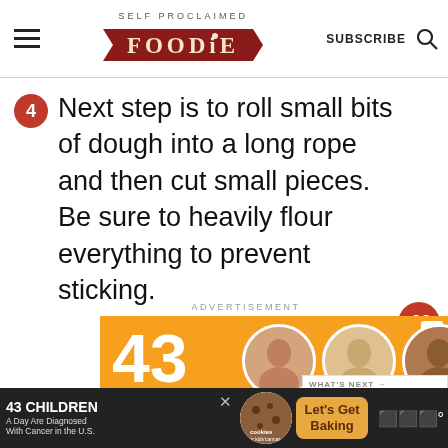SELF PROCLAIMED FOODIE | SUBSCRIBE
4 Next step is to roll small bits of dough into a long rope and then cut small pieces. Be sure to heavily flour everything to prevent sticking.
ADVERTISEMENT
[Figure (infographic): 43 CHILDREN A Day Are Diagnosed With Cancer in the U.S. - charity advertisement with orange and green background and photos of children]
[Figure (infographic): What's Next arrow with Best Homemade... thumbnail]
[Figure (infographic): Bottom ad bar: 43 CHILDREN A Day Are Diagnosed With Cancer in the U.S. - cookies for kids cancer - Let's Get Baking]